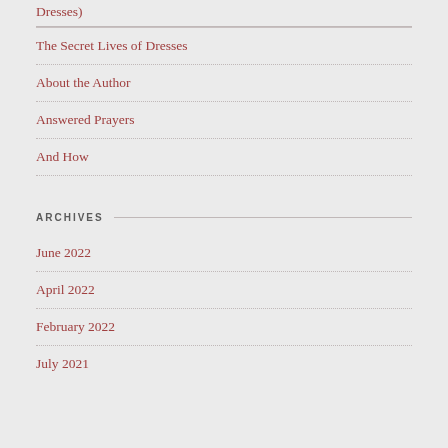Dresses)
The Secret Lives of Dresses
About the Author
Answered Prayers
And How
ARCHIVES
June 2022
April 2022
February 2022
July 2021